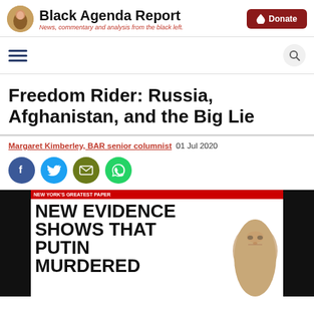Black Agenda Report — News, commentary and analysis from the black left.
Freedom Rider: Russia, Afghanistan, and the Big Lie
Margaret Kimberley, BAR senior columnist  01 Jul 2020
[Figure (screenshot): Newspaper front page showing headline: NEW EVIDENCE SHOWS THAT PUTIN MURDERED — with a photo of Vladimir Putin on the right side. Black side bars frame the image.]